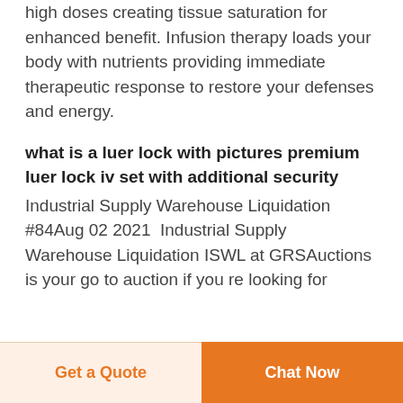high doses creating tissue saturation for enhanced benefit. Infusion therapy loads your body with nutrients providing immediate therapeutic response to restore your defenses and energy.
what is a luer lock with pictures premium luer lock iv set with additional security
Industrial Supply Warehouse Liquidation #84Aug 02 2021  Industrial Supply Warehouse Liquidation ISWL at GRSAuctions is your go to auction if you re looking for
Get a Quote | Chat Now